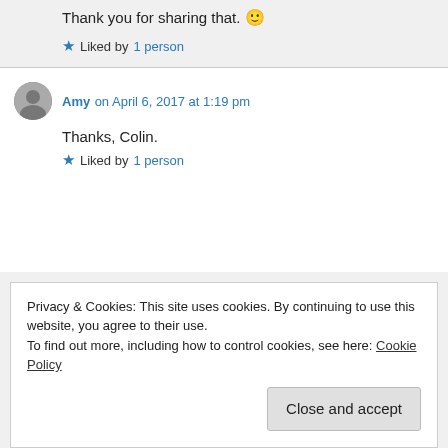Thank you for sharing that. 🙂
Liked by 1 person
Amy on April 6, 2017 at 1:19 pm
Thanks, Colin.
Liked by 1 person
Privacy & Cookies: This site uses cookies. By continuing to use this website, you agree to their use. To find out more, including how to control cookies, see here: Cookie Policy
Close and accept